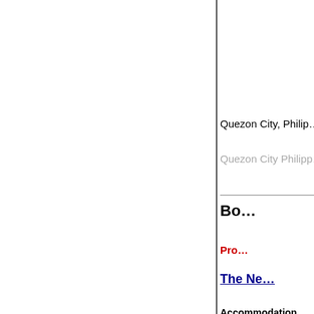Quezon City, Philip…
Quezon City Philipp…
Bo…
Pro…
The Ne…
Accommodation
127 de luxe castle ro… Furniture are made of… quatrefoils and tracey…
Average castle room … Doubles…